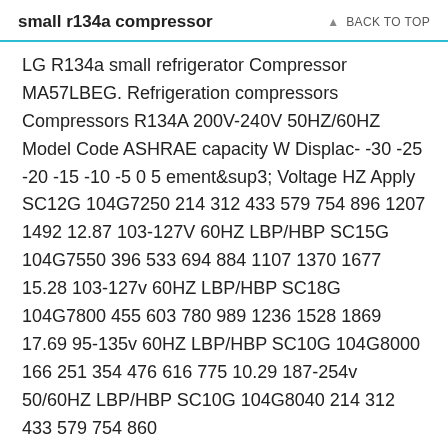small r134a compressor    ↑ BACK TO TOP
LG R134a small refrigerator Compressor MA57LBEG. Refrigeration compressors Compressors R134A 200V-240V 50HZ/60HZ Model Code ASHRAE capacity W Displac- -30 -25 -20 -15 -10 -5 0 5 ement&sup3; Voltage HZ Apply SC12G 104G7250 214 312 433 579 754 896 1207 1492 12.87 103-127V 60HZ LBP/HBP SC15G 104G7550 396 533 694 884 1107 1370 1677 15.28 103-127v 60HZ LBP/HBP SC18G 104G7800 455 603 780 989 1236 1528 1869 17.69 95-135v 60HZ LBP/HBP SC10G 104G8000 166 251 354 476 616 775 10.29 187-254v 50/60HZ LBP/HBP SC10G 104G8040 214 312 433 579 754 860...